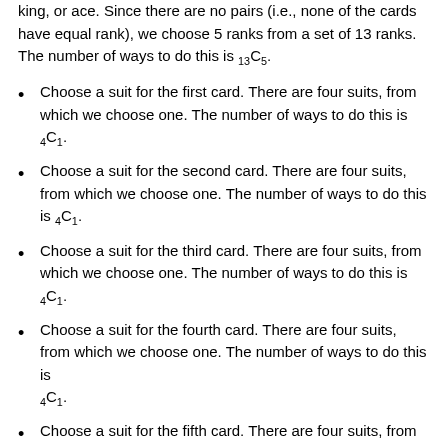king, or ace. Since there are no pairs (i.e., none of the cards have equal rank), we choose 5 ranks from a set of 13 ranks. The number of ways to do this is 13C5.
Choose a suit for the first card. There are four suits, from which we choose one. The number of ways to do this is 4C1.
Choose a suit for the second card. There are four suits, from which we choose one. The number of ways to do this is 4C1.
Choose a suit for the third card. There are four suits, from which we choose one. The number of ways to do this is 4C1.
Choose a suit for the fourth card. There are four suits, from which we choose one. The number of ways to do this is 4C1.
Choose a suit for the fifth card. There are four suits, from which we choose one. The number of ways to do this is 4C...